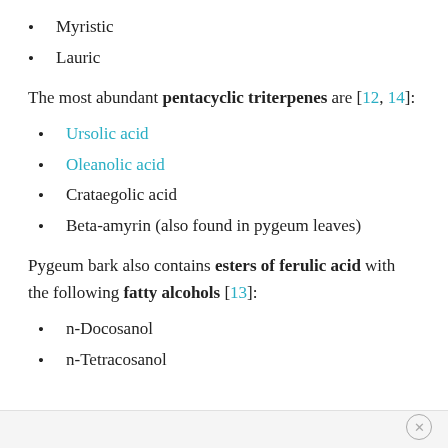Myristic
Lauric
The most abundant pentacyclic triterpenes are [12, 14]:
Ursolic acid
Oleanolic acid
Crataegolic acid
Beta-amyrin (also found in pygeum leaves)
Pygeum bark also contains esters of ferulic acid with the following fatty alcohols [13]:
n-Docosanol
n-Tetracosanol